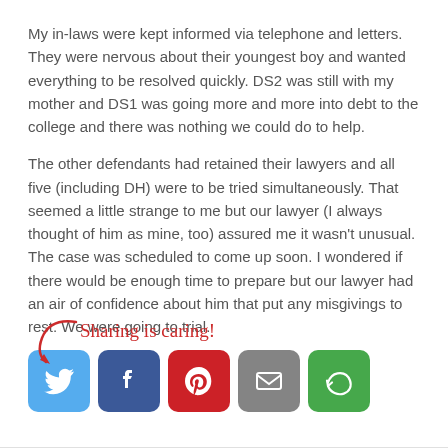My in-laws were kept informed via telephone and letters. They were nervous about their youngest boy and wanted everything to be resolved quickly. DS2 was still with my mother and DS1 was going more and more into debt to the college and there was nothing we could do to help.
The other defendants had retained their lawyers and all five (including DH) were to be tried simultaneously. That seemed a little strange to me but our lawyer (I always thought of him as mine, too) assured me it wasn't unusual. The case was scheduled to come up soon. I wondered if there would be enough time to prepare but our lawyer had an air of confidence about him that put any misgivings to rest. We were going to trial.
Sharing is caring!